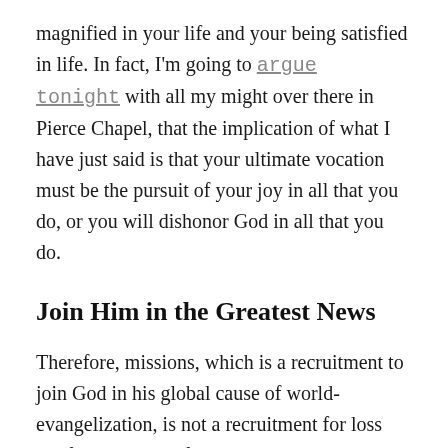magnified in your life and your being satisfied in life. In fact, I'm going to argue tonight with all my might over there in Pierce Chapel, that the implication of what I have just said is that your ultimate vocation must be the pursuit of your joy in all that you do, or you will dishonor God in all that you do.
Join Him in the Greatest News
Therefore, missions, which is a recruitment to join God in his global cause of world-evangelization, is not a recruitment for loss but for gain. And if you realize that — that ultimate gain, ultimate satisfaction, ultimate joy, ultimate contentment —